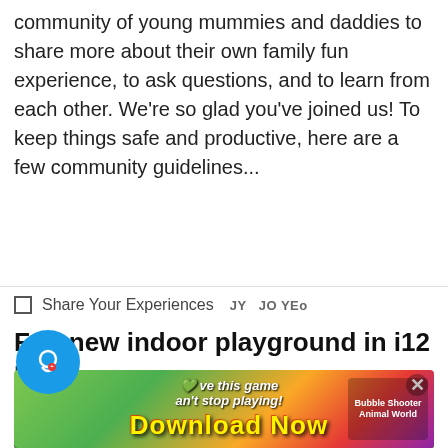community of young mummies and daddies to share more about their own family fun experience, to ask questions, and to learn from each other. We're so glad you've joined us! To keep things safe and productive, here are a few community guidelines...
[Figure (other): A plus (+) button element and a pin/bookmark icon on the right]
Share Your Experiences   JY   JO YEo
Fun new indoor playground in i12 Katong
[Figure (photo): Partial photo of indoor playground at i12 Katong, dark foliage/netting visible]
[Figure (other): Advertisement banner: 'I love this game can't stop playing! Download Now' with Bubble Shooter Animal World game ad and close button]